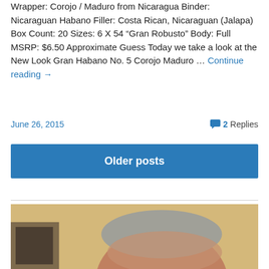Wrapper: Corojo / Maduro from Nicaragua Binder: Nicaraguan Habano Filler: Costa Rican, Nicaraguan (Jalapa) Box Count: 20 Sizes: 6 X 54 "Gran Robusto" Body: Full MSRP: $6.50 Approximate Guess Today we take a look at the New Look Gran Habano No. 5 Corojo Maduro … Continue reading →
June 26, 2015
2 Replies
Older posts
[Figure (photo): A photo showing the top of a person's head with grey hair, against a yellowish background. A framed picture is partially visible on the left side.]